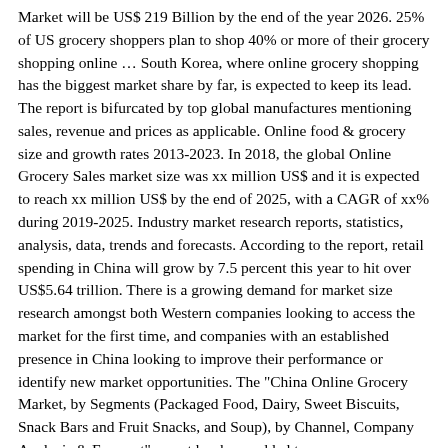Market will be US$ 219 Billion by the end of the year 2026. 25% of US grocery shoppers plan to shop 40% or more of their grocery shopping online … South Korea, where online grocery shopping has the biggest market share by far, is expected to keep its lead. The report is bifurcated by top global manufactures mentioning sales, revenue and prices as applicable. Online food & grocery size and growth rates 2013-2023. In 2018, the global Online Grocery Sales market size was xx million US$ and it is expected to reach xx million US$ by the end of 2025, with a CAGR of xx% during 2019-2025. Industry market research reports, statistics, analysis, data, trends and forecasts. According to the report, retail spending in China will grow by 7.5 percent this year to hit over US$5.64 trillion. There is a growing demand for market size research amongst both Western companies looking to access the market for the first time, and companies with an established presence in China looking to improve their performance or identify new market opportunities. The "China Online Grocery Market, by Segments (Packaged Food, Dairy, Sweet Biscuits, Snack Bars and Fruit Snacks, and Soup), by Channel, Company Analysis & Forecast" report has been added to ResearchAndMarkets.com's offering. Increased disposable income as a result of economic growth has fueled the spending on consumables What is the market size of the Supermarkets & Grocery Stores industry in the US? Risks factors delivery industry continues to increase overview covering key drivers and risks factors market continues! Can be costly